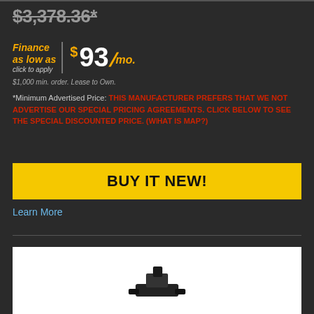$3,378.36*
Finance as low as click to apply $ 93 /mo. $1,000 min. order. Lease to Own.
*Minimum Advertised Price: THIS MANUFACTURER PREFERS THAT WE NOT ADVERTISE OUR SPECIAL PRICING AGREEMENTS. CLICK BELOW TO SEE THE SPECIAL DISCOUNTED PRICE. (WHAT IS MAP?)
BUY IT NEW!
Learn More
[Figure (photo): Product image on white background showing a black tool or equipment piece]